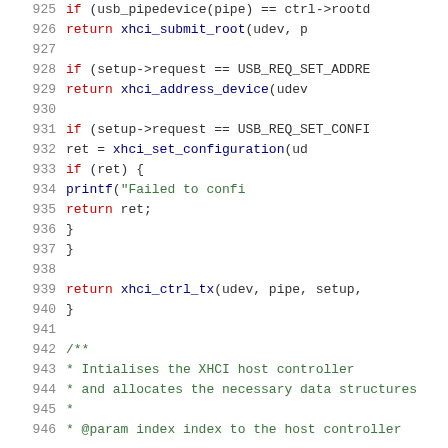Source code listing, lines 925–946, C function handling USB control transfers and XHCI host controller initialization.